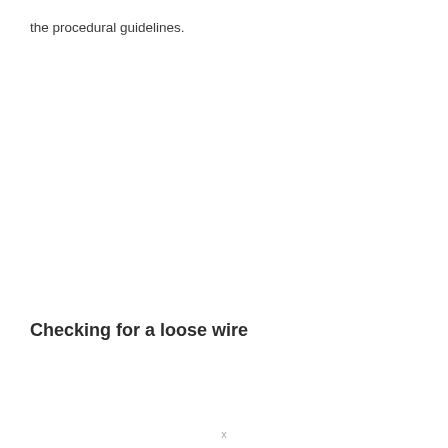the procedural guidelines.
Checking for a loose wire
x